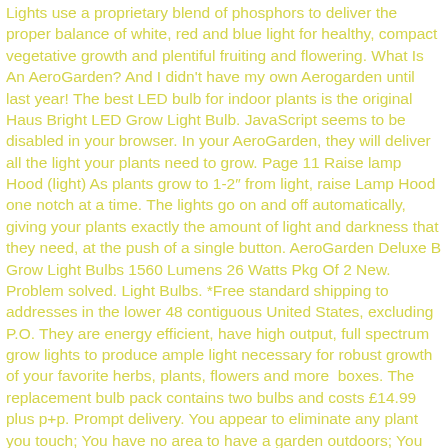Lights use a proprietary blend of phosphors to deliver the proper balance of white, red and blue light for healthy, compact vegetative growth and plentiful fruiting and flowering. What Is An AeroGarden? And I didn't have my own Aerogarden until last year! The best LED bulb for indoor plants is the original Haus Bright LED Grow Light Bulb. JavaScript seems to be disabled in your browser. In your AeroGarden, they will deliver all the light your plants need to grow. Page 11 Raise lamp Hood (light) As plants grow to 1-2″ from light, raise Lamp Hood one notch at a time. The lights go on and off automatically, giving your plants exactly the amount of light and darkness that they need, at the push of a single button. AeroGarden Deluxe B Grow Light Bulbs 1560 Lumens 26 Watts Pkg Of 2 New. Problem solved. Light Bulbs. *Free standard shipping to addresses in the lower 48 contiguous United States, excluding P.O. They are energy efficient, have high output, full spectrum grow lights to produce ample light necessary for robust growth of your favorite herbs, plants, flowers and more  boxes. The replacement bulb pack contains two bulbs and costs £14.99 plus p+p. Prompt delivery. You appear to eliminate any plant you touch; You have no area to have a garden outdoors; You do ... They work well. AeroGarden CFL grow lights use a blend of phosphors to provide healthy vegetative growth for your indoor garden - no sun required. Get free shipping on qualified AeroGarden Grow Light Bulbs or Buy Online Pick Up in Store today in the Lighting Department. View our shipping policy here. No issues. 99 Products